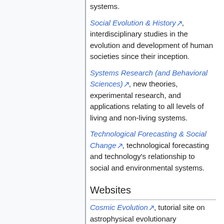systems.
Social Evolution & History, interdisciplinary studies in the evolution and development of human societies since their inception.
Systems Research (and Behavioral Sciences), new theories, experimental research, and applications relating to all levels of living and non-living systems.
Technological Forecasting & Social Change, technological forecasting and technology's relationship to social and environmental systems.
Websites
Cosmic Evolution, tutorial site on astrophysical evolutionary development (Eric Chaisson).